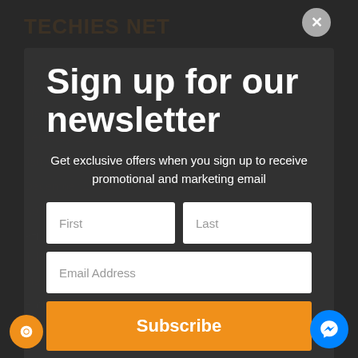TECHIES NET
April 20...
March 2014
February 2014
January 2014
December 2013
November 2013
September 2013
July 2013
May 2013
April 2013
March 2013
Sign up for our newsletter
Get exclusive offers when you sign up to receive promotional and marketing email
Subscribe
No Thanks!